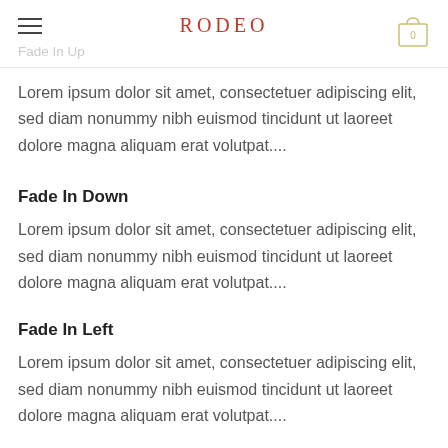RODEO
Fade In Up
Lorem ipsum dolor sit amet, consectetuer adipiscing elit, sed diam nonummy nibh euismod tincidunt ut laoreet dolore magna aliquam erat volutpat....
Fade In Down
Lorem ipsum dolor sit amet, consectetuer adipiscing elit, sed diam nonummy nibh euismod tincidunt ut laoreet dolore magna aliquam erat volutpat....
Fade In Left
Lorem ipsum dolor sit amet, consectetuer adipiscing elit, sed diam nonummy nibh euismod tincidunt ut laoreet dolore magna aliquam erat volutpat....